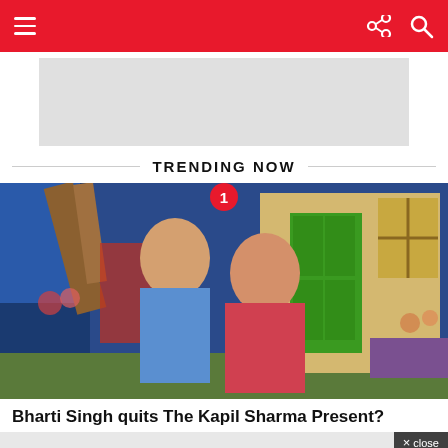Navigation bar with menu, share, and search icons
[Figure (other): Top advertisement banner placeholder (gray rectangle)]
TRENDING NOW
[Figure (photo): Photo of two people (a man in a blue shirt and a woman in a red/pink outfit) standing together on a TV show set with a green door background. Number badge '1' overlays the top center.]
Bharti Singh quits The Kapil Sharma Present?
[Figure (other): Bottom advertisement banner: ad 728x90 with close button]